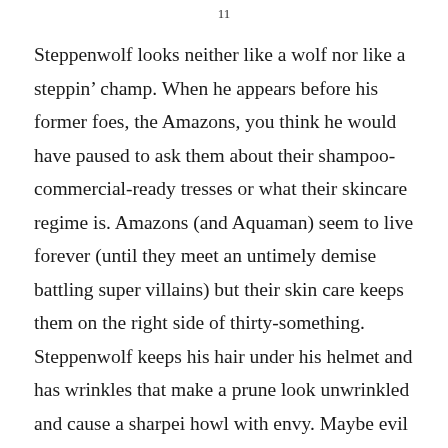11
Steppenwolf looks neither like a wolf nor like a steppin’ champ. When he appears before his former foes, the Amazons, you think he would have paused to ask them about their shampoo-commercial-ready tresses or what their skincare regime is. Amazons (and Aquaman) seem to live forever (until they meet an untimely demise battling super villains) but their skin care keeps them on the right side of thirty-something. Steppenwolf keeps his hair under his helmet and has wrinkles that make a prune look unwrinkled and cause a sharpei howl with envy. Maybe evil prematurely ages you.